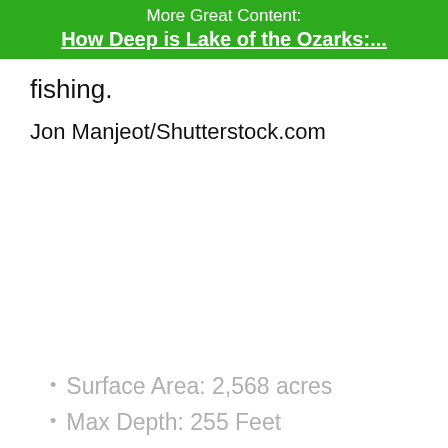More Great Content: How Deep is Lake of the Ozarks:...
fishing.
Jon Manjeot/Shutterstock.com
Surface Area: 2,568 acres
Max Depth: 255 Feet